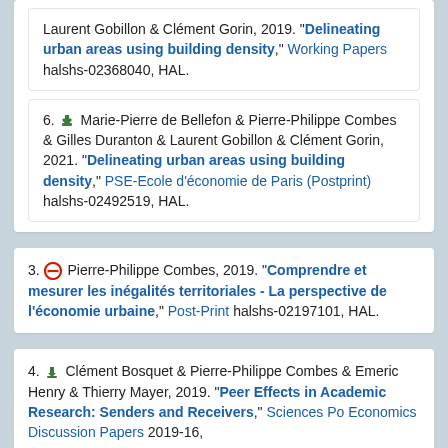Laurent Gobillon & Clément Gorin, 2019. "Delineating urban areas using building density," Working Papers halshs-02368040, HAL.
6. Marie-Pierre de Bellefon & Pierre-Philippe Combes & Gilles Duranton & Laurent Gobillon & Clément Gorin, 2021. "Delineating urban areas using building density," PSE-Ecole d'économie de Paris (Postprint) halshs-02492519, HAL.
3. Pierre-Philippe Combes, 2019. "Comprendre et mesurer les inégalités territoriales - La perspective de l'économie urbaine," Post-Print halshs-02197101, HAL.
4. Clément Bosquet & Pierre-Philippe Combes & Emeric Henry & Thierry Mayer, 2019. "Peer Effects in Academic Research: Senders and Receivers," Sciences Po Economics Discussion Papers 2019-16,